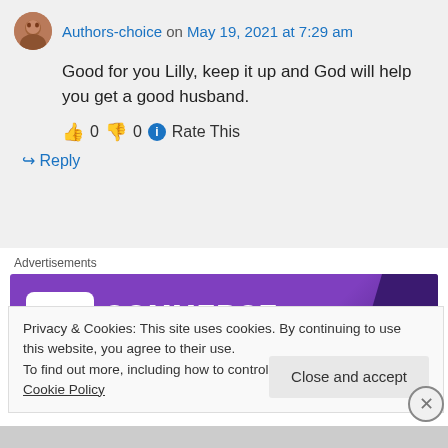Authors-choice on May 19, 2021 at 7:29 am
Good for you Lilly, keep it up and God will help you get a good husband.
👍 0 👎 0 ℹ Rate This
↪ Reply
Advertisements
[Figure (logo): WooCommerce logo banner with purple background]
Privacy & Cookies: This site uses cookies. By continuing to use this website, you agree to their use.
To find out more, including how to control cookies, see here: Cookie Policy
Close and accept